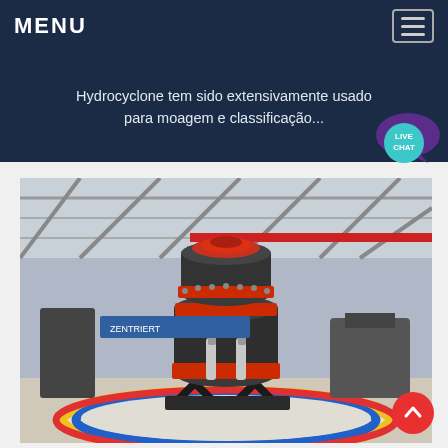MENU
Hydrocyclone tem sido extensivamente usado para moagem e classificação...
[Figure (photo): Industrial cone crusher machine with red and black coloring displayed on a circular platform inside a large manufacturing warehouse with steel truss roof structure]
LIVE CHAT